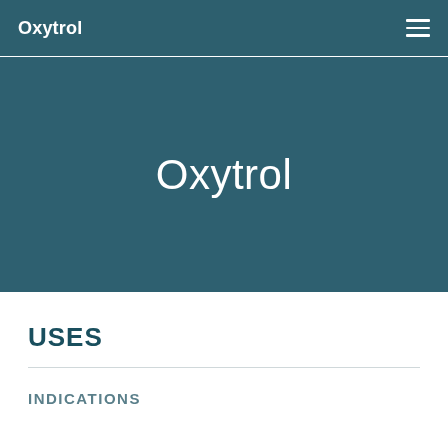Oxytrol
Oxytrol
USES
INDICATIONS